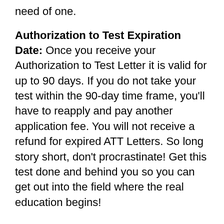need of one.
Authorization to Test Expiration Date: Once you receive your Authorization to Test Letter it is valid for up to 90 days. If you do not take your test within the 90-day time frame, you'll have to reapply and pay another application fee. You will not receive a refund for expired ATT Letters. So long story short, don't procrastinate! Get this test done and behind you so you can get out into the field where the real education begins!